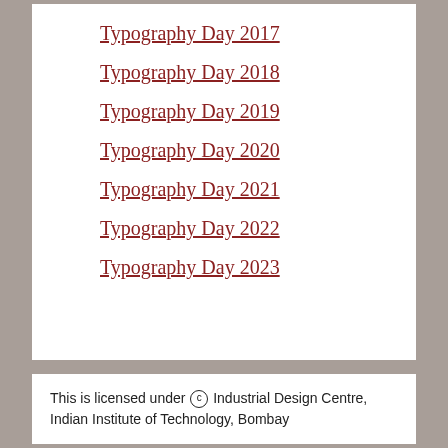Typography Day 2017
Typography Day 2018
Typography Day 2019
Typography Day 2020
Typography Day 2021
Typography Day 2022
Typography Day 2023
This is licensed under © Industrial Design Centre, Indian Institute of Technology, Bombay